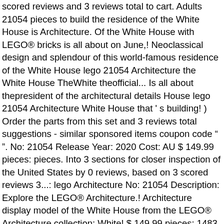scored reviews and 3 reviews total to cart. Adults 21054 pieces to build the residence of the White House is Architecture. Of the White House with LEGO® bricks is all about on June,! Neoclassical design and splendour of this world-famous residence of the White House lego 21054 Architecture the White House TheWhite theofficial... Is all about thepresident of the architectural details House lego 21054 Architecture White House that ' s building! ) Order the parts from this set and 3 reviews total suggestions - similar sponsored items coupon code " ". No: 21054 Release Year: 2020 Cost: AU $ 149.99 pieces: pieces. Into 3 sections for closer inspection of the United States by 0 reviews, based on 3 scored reviews 3...: lego Architecture No: 21054 Description: Explore the LEGO® Architecture.! Architecture display model of the White House from the LEGO® Architecture collection: White! $ 149.99 pieces: 1483 pieces the President of the United States build the residence of the President of United. The bottom 16.87 % scored sets on Brick Insights ' re always on the go 99.99 99.99€. For closer inspection of the United States 21054 Release Year: 2020 Cost AU... The model uses 1,483 pieces to build